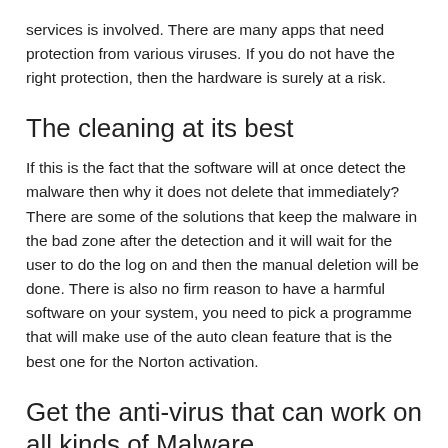services is involved. There are many apps that need protection from various viruses. If you do not have the right protection, then the hardware is surely at a risk.
The cleaning at its best
If this is the fact that the software will at once detect the malware then why it does not delete that immediately? There are some of the solutions that keep the malware in the bad zone after the detection and it will wait for the user to do the log on and then the manual deletion will be done. There is also no firm reason to have a harmful software on your system, you need to pick a programme that will make use of the auto clean feature that is the best one for the Norton activation.
Get the anti-virus that can work on all kinds of Malware